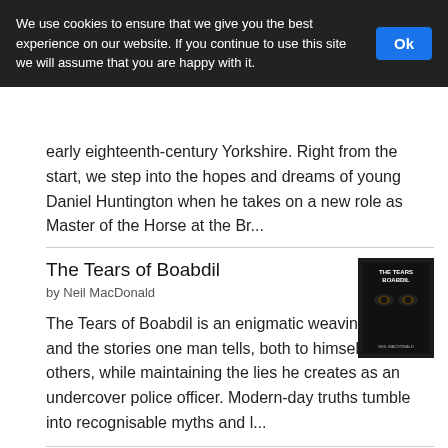We use cookies to ensure that we give you the best experience on our website. If you continue to use this site we will assume that you are happy with it.
early eighteenth-century Yorkshire. Right from the start, we step into the hopes and dreams of young Daniel Huntington when he takes on a new role as Master of the Horse at the Br...
The Tears of Boabdil
by Neil MacDonald
The Tears of Boabdil is an enigmatic weaving of time and the stories one man tells, both to himself and others, while maintaining the lies he creates as an undercover police officer. Modern-day truths tumble into recognisable myths and l...
Wives and Daughters: Women and Children in the Georgian Country House
by Joanna Martin
Secrets and Spies: A Scottish Wartime Mystery
by Mary Rosambeau